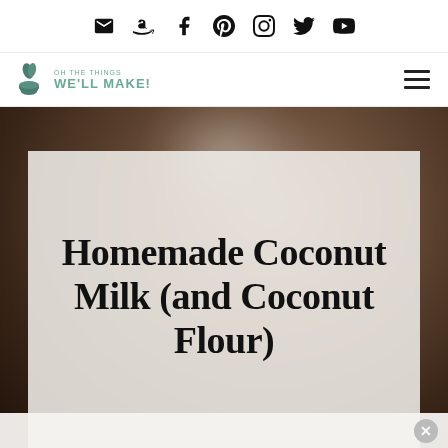Social icons: email, Amazon, Facebook, Pinterest, Instagram, Twitter, YouTube
[Figure (logo): Oh The Things We'll Make! logo with mortar and pestle icon in teal/green]
Homemade Coconut Milk (and Coconut Flour)
[Figure (photo): Background photo of a glass pitcher/jug with blurred dark background, coconut milk theme]